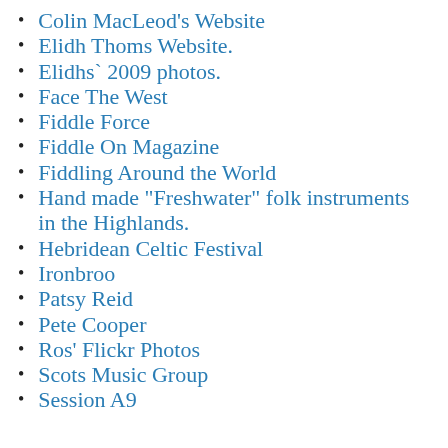Colin MacLeod's Website
Elidh Thoms Website.
Elidhs` 2009 photos.
Face The West
Fiddle Force
Fiddle On Magazine
Fiddling Around the World
Hand made "Freshwater" folk instruments in the Highlands.
Hebridean Celtic Festival
Ironbroo
Patsy Reid
Pete Cooper
Ros' Flickr Photos
Scots Music Group
Session A9